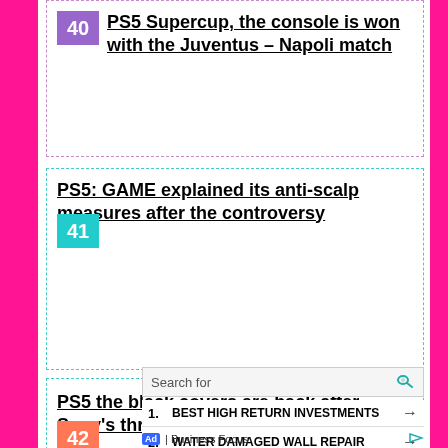40 PS5 Supercup, the console is won with the Juventus – Napoli match
41 PS5: GAME explained its anti-scalp measures after the controversy
42 PS5 the black covers are back after Sony's threats: "we are
Search for
1. BEST HIGH RETURN INVESTMENTS
2. WATER DAMAGED WALL REPAIR
Ad | Business Focus